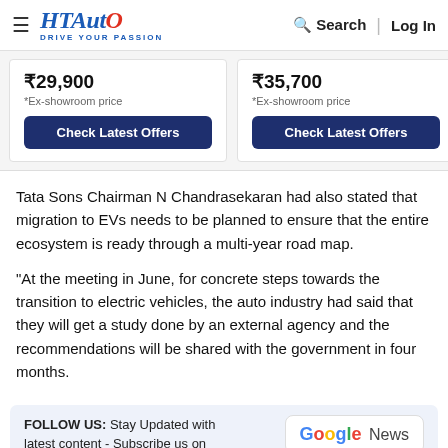HT Auto - Drive Your Passion | Search | Log In
₹29,900 *Ex-showroom price | Check Latest Offers | ₹35,700 *Ex-showroom price | Check Latest Offers | ₹3 *Ex-
Tata Sons Chairman N Chandrasekaran had also stated that migration to EVs needs to be planned to ensure that the entire ecosystem is ready through a multi-year road map.
"At the meeting in June, for concrete steps towards the transition to electric vehicles, the auto industry had said that they will get a study done by an external agency and the recommendations will be shared with the government in four months.
FOLLOW US: Stay Updated with latest content - Subscribe us on | Google News